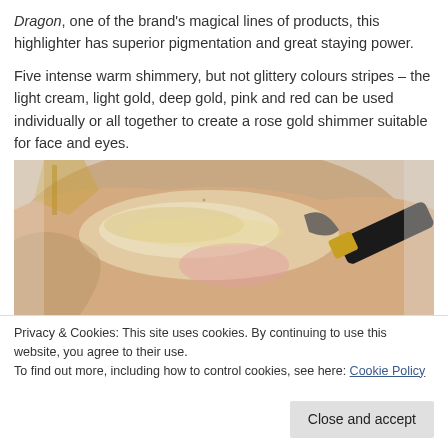Dragon, one of the brand's magical lines of products, this highlighter has superior pigmentation and great staying power.

Five intense warm shimmery, but not glittery colours stripes – the light cream, light gold, deep gold, pink and red can be used individually or all together to create a rose gold shimmer suitable for face and eyes.
[Figure (photo): Close-up photo of a hand showing highlighter swatches in shimmer tones (cream, gold, pink) applied to the back of the hand, with a makeup brush visible on the right side.]
Privacy & Cookies: This site uses cookies. By continuing to use this website, you agree to their use.
To find out more, including how to control cookies, see here: Cookie Policy